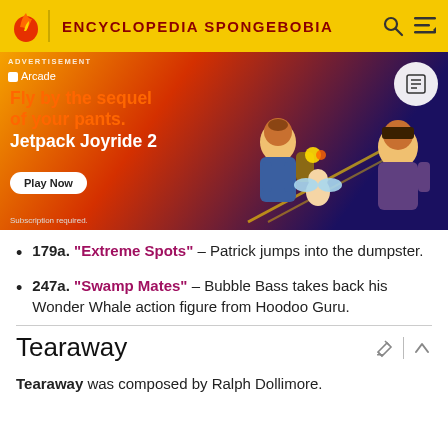ENCYCLOPEDIA SPONGEBOBIA
[Figure (screenshot): Advertisement banner for Jetpack Joyride 2 on Apple Arcade. Shows animated characters flying with jetpacks. Text reads: 'Fly by the sequel of your pants. Jetpack Joyride 2'. Play Now button and 'Subscription required' disclaimer.]
179a. "Extreme Spots" – Patrick jumps into the dumpster.
247a. "Swamp Mates" – Bubble Bass takes back his Wonder Whale action figure from Hoodoo Guru.
Tearaway
Tearaway was composed by Ralph Dollimore.